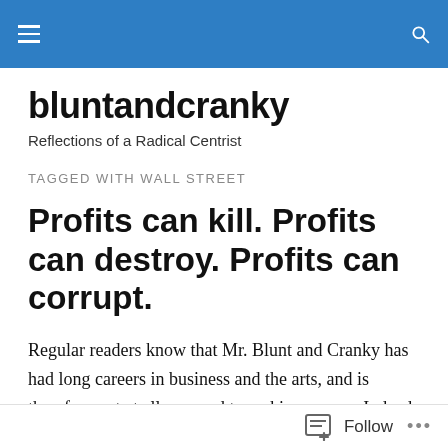bluntandcranky — navigation header bar
bluntandcranky
Reflections of a Radical Centrist
TAGGED WITH WALL STREET
Profits can kill. Profits can destroy. Profits can corrupt.
Regular readers know that Mr. Blunt and Cranky has had long careers in business and the arts, and is therefore not at all opposed to making money. Indeed, Adam Smith is
Follow